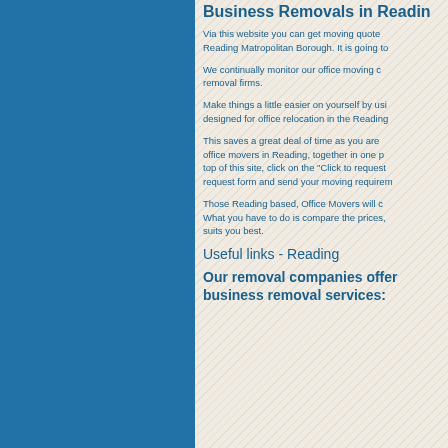Business Removals in Reading
Via this website you can get moving quotes from office removal firms in the Reading Matropolitan Borough. It is going to
We continually monitor our office moving companies to make sure they are the best removal firms.
Make things a little easier on yourself by using our specialist moving website, designed for office relocation in the Reading
This saves a great deal of time as you are able to get quotes from many of the best office movers in Reading, together in one place. Simply click on the button at the top of this site, click on the "Click to request quotes" button, fill out the request form and send your moving requirements.
Those Reading based, Office Movers will contact you with their moving quotes. What you have to do is compare the prices, and choose the company that suits you best.
Useful links - Reading
Our removal companies offer business removal services: